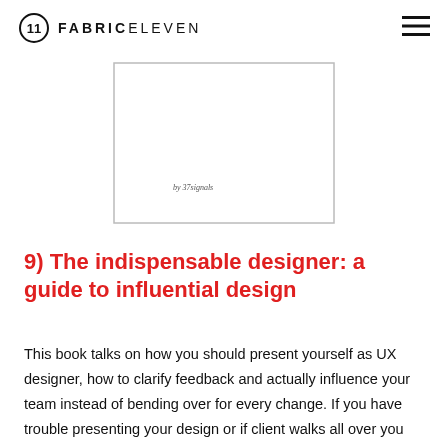FABRIC ELEVEN
[Figure (illustration): Book cover image showing a white/blank book cover with text 'by 37signals' at the bottom, displayed inside a rectangular outline.]
9) The indispensable designer: a guide to influential design
This book talks on how you should present yourself as UX designer, how to clarify feedback and actually influence your team instead of bending over for every change. If you have trouble presenting your design or if client walks all over you during presentations this is a great read